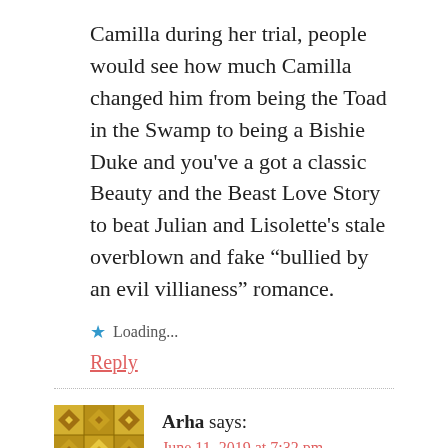Camilla during her trial, people would see how much Camilla changed him from being the Toad in the Swamp to being a Bishie Duke and you've a got a classic Beauty and the Beast Love Story to beat Julian and Lisolette's stale overblown and fake “bullied by an evil villianess” romance.
Loading...
Reply
Arha says:
June 11, 2019 at 7:32 pm
Alois is the real Julian, which is what I meant